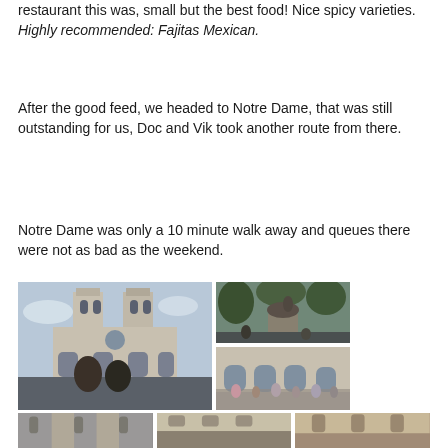restaurant this was, small but the best food! Nice spicy varieties.
Highly recommended: Fajitas Mexican.
After the good feed, we headed to Notre Dame, that was still outstanding for us, Doc and Vik took another route from there.
Notre Dame was only a 10 minute walk away and queues there were not as bad as the weekend.
[Figure (photo): Large photo of Notre Dame cathedral facade with two people posing in front, crowd of tourists visible]
[Figure (photo): Photo of a statue on horseback surrounded by trees and people]
[Figure (photo): Photo of Notre Dame side entrance with crowd of tourists queuing]
[Figure (photo): Bottom row: three partial photos of Notre Dame towers and architectural details]